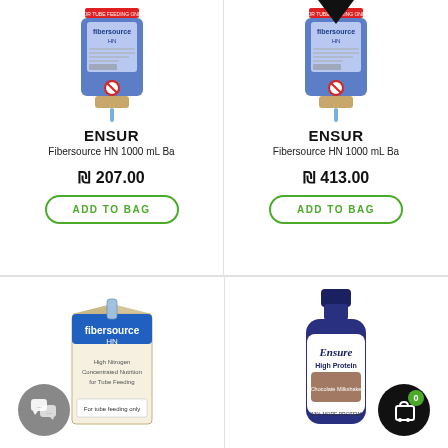[Figure (photo): IV bag product - Fibersource HN 1000 mL, left cell top]
ENSUR
Fibersource HN 1000 mL Ba
₪ 207.00
ADD TO BAG
[Figure (photo): IV bag product - Fibersource HN 1000 mL, right cell top, with bookmark badge]
ENSUR
Fibersource HN 1000 mL Ba
₪ 413.00
ADD TO BAG
[Figure (photo): Fibersource HN carton box product, bottom left]
[Figure (photo): Ensure High Protein chocolate shake bottle, bottom right]